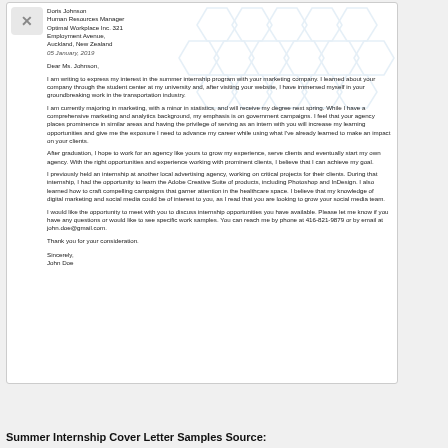Doris Johnson
Human Resources Manager
Optimal Workplace Inc. 321
Employment Avenue,
Auckland, New Zealand
05 January, 2019
Dear Ms. Johnson,
I am writing to express my interest in the summer internship program with your marketing company. I learned about your company through the student center at my university and, after visiting your website, I have immersed myself in your groundbreaking work in the transportation industry.
I am currently majoring in marketing, with a minor in statistics, and will receive my degree next spring. While I have a comprehensive marketing and analytics background, my emphasis is on government campaigns. I feel that your agency places prominence in similar areas and having the privilege of serving as an intern with you will increase my learning opportunities and give me the exposure I need to advance my career while using what I've already learned to make an impact on your clients.
After graduation, I hope to work for an agency like yours to grow my experience, serve clients and eventually start my own agency. With the right opportunities and experience working with prominent clients, I believe that I can achieve my goal.
I previously held an internship at another local advertising agency, working on critical projects for their clients. During that internship, I had the opportunity to learn the Adobe Creative Suite of products, including Photoshop and InDesign. I also learned how to craft compelling campaigns that garner attention in the healthcare space. I believe that my knowledge of digital marketing and social media could be of interest to you, as I read that you are looking to grow your social media team.
I would like the opportunity to meet with you to discuss internship opportunities you have available. Please let me know if you have any questions or would like to see specific work samples. You can reach me by phone at 416-821-9879 or by email at john.doe@gmail.com.
Thank you for your consideration.
Sincerely,
John Doe
Summer Internship Cover Letter Samples Source: